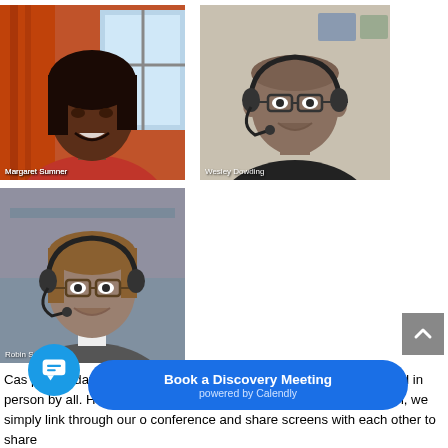[Figure (photo): Video conference screenshot showing three participants: Margaret Sumner (top-left), Wesley Dowding (top-right, wearing headset with glasses), and Robin Sumner (bottom-left, wearing headset with glasses). Each participant is shown in their own video tile with their name labeled at the bottom.]
Case point today, our monthly scheduled board meeting could not be attended in person by all. However, Wes Dowding, our Operations and Technology Director, suggested that we simply link through our office's video conference and share screens with each other to share